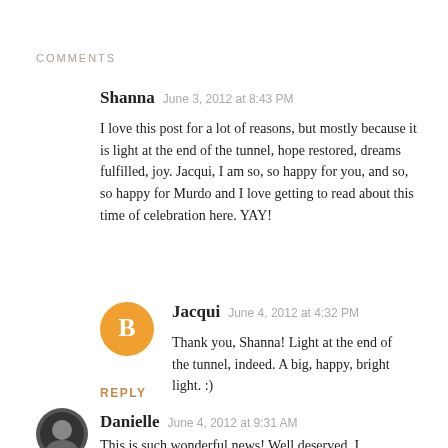COMMENTS
Shanna   June 3, 2012 at 8:43 PM
I love this post for a lot of reasons, but mostly because it is light at the end of the tunnel, hope restored, dreams fulfilled, joy. Jacqui, I am so, so happy for you, and so, so happy for Murdo and I love getting to read about this time of celebration here. YAY!
Jacqui   June 4, 2012 at 4:32 PM
Thank you, Shanna! Light at the end of the tunnel, indeed. A big, happy, bright light. :)
REPLY
Danielle   June 4, 2012 at 9:31 AM
This is such wonderful news! Well deserved. I